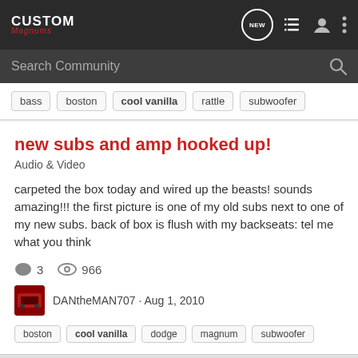CUSTOM Magnums — navigation bar with NEW, list, user, and more icons
Search Community
bass
boston
cool vanilla
rattle
subwoofer
new subs and amp hooked up!
Audio & Video
carpeted the box today and wired up the beasts! sounds amazing!!! the first picture is one of my old subs next to one of my new subs. back of box is flush with my backseats: tel me what you think
3   966
DANtheMAN707 · Aug 1, 2010
boston
cool vanilla
dodge
magnum
subwoofer